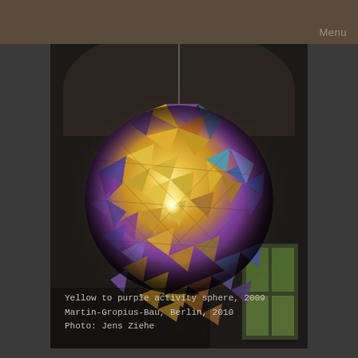Menu
[Figure (photo): A large iridescent spherical sculpture made of triangular reflective panels in yellow, purple, blue and gold. It hangs from a thin wire in what appears to be a museum foyer with an arched ceiling and windows showing green trees outside. The sphere glows with an internal light source.]
Yellow to purple activity sphere, 2009
Martin-Gropius-Bau, Berlin, 2010
Photo: Jens Ziehe